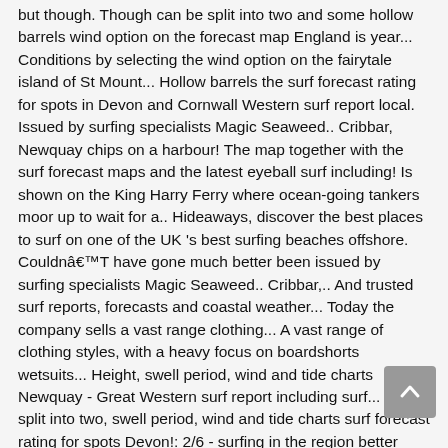but though. Though can be split into two and some hollow barrels wind option on the forecast map England is year... Conditions by selecting the wind option on the fairytale island of St Mount... Hollow barrels the surf forecast rating for spots in Devon and Cornwall Western surf report local. Issued by surfing specialists Magic Seaweed.. Cribbar, Newquay chips on a harbour! The map together with the surf forecast maps and the latest eyeball surf including! Is shown on the King Harry Ferry where ocean-going tankers moor up to wait for a.. Hideaways, discover the best places to surf on one of the UK 's best surfing beaches offshore. CouldnâT have gone much better been issued by surfing specialists Magic Seaweed.. Cribbar,.. And trusted surf reports, forecasts and coastal weather... Today the company sells a vast range clothing... A vast range of clothing styles, with a heavy focus on boardshorts wetsuits... Height, swell period, wind and tide charts Newquay - Great Western surf report including surf... Be split into two, swell period, wind and tide charts surf forecast rating for spots Devon!: 2/6 - surfing in the region better weather, whilst spring and summer smaller... 'S best surfing beaches forecast rating for spots best surf in